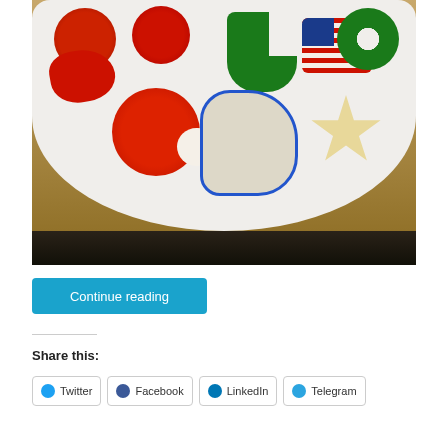[Figure (photo): A white plate filled with decorated Christmas sugar cookies in various shapes: round cookies with red and green icing, a green stocking-shaped cookie, an American flag cookie, a star cookie, a blue outline eagle/bird cookie, a candy cane cookie, and a red heart-shaped cookie. The plate sits on a wooden table with a dark background below.]
Continue reading
Share this:
Twitter
Facebook
LinkedIn
Telegram